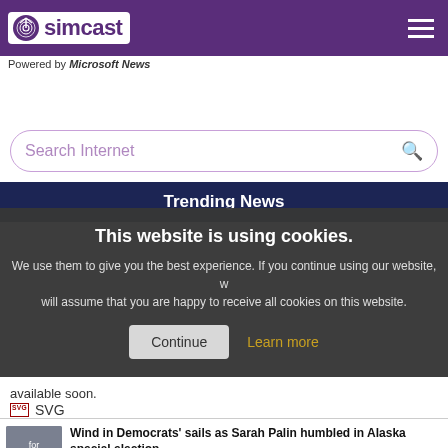simcast — Powered by Microsoft News
Search Internet
Trending News
This website is using cookies. We use them to give you the best experience. If you continue using our website, we will assume that you are happy to receive all cookies on this website. Continue | Learn more
available soon.
SVG
Wind in Democrats' sails as Sarah Palin humbled in Alaska special election